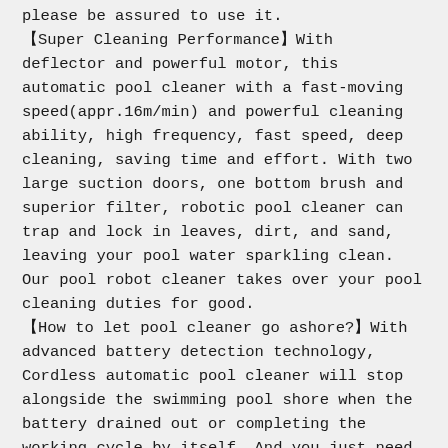please be assured to use it.
【Super Cleaning Performance】With deflector and powerful motor, this automatic pool cleaner with a fast-moving speed(appr.16m/min) and powerful cleaning ability, high frequency, fast speed, deep cleaning, saving time and effort. With two large suction doors, one bottom brush and superior filter, robotic pool cleaner can trap and lock in leaves, dirt, and sand, leaving your pool water sparkling clean. Our pool robot cleaner takes over your pool cleaning duties for good.
【How to let pool cleaner go ashore?】With advanced battery detection technology, Cordless automatic pool cleaner will stop alongside the swimming pool shore when the battery drained out or completing the working cycle by itself. And you just need to pull up the floating handle to let the pool cleaners go ashore. Simply plug the robot pool cleaner into any